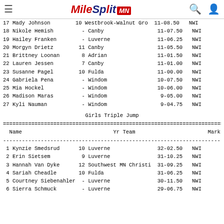MileSplit MN
17 Mady Johnson        10 Westbrook-Walnut Gro  11-08.50   NWI
18 Nikole Hemish         - Canby                 11-07.50   NWI
19 Hailey Franken        - Luverne               11-06.25   NWI
20 Morgyn Drietz        11 Canby                 11-05.50   NWI
21 Brittney Loonan       8 Adrian                11-01.50   NWI
22 Lauren Jessen         7 Canby                 11-01.00   NWI
23 Susanne Pagel        10 Fulda                 11-00.00   NWI
24 Gabriela Pena         - Windom                10-07.50   NWI
25 Mia Hockel            - Windom                10-06.00   NWI
26 Madison Maras         - Windom                 9-05.00   NWI
27 Kyli Nauman           - Windom                 9-04.75   NWI
Girls Triple Jump
| Name | Yr | Team | Mark | Wind |
| --- | --- | --- | --- | --- |
| 1 Kynzie Smedsrud | 10 | Luverne | 32-02.50 | NWI |
| 2 Erin Sietsem | 9 | Luverne | 31-10.25 | NWI |
| 3 Hannah Van Dyke | 12 | Southwest MN Christi | 31-09.25 | NWI |
| 4 Sariah Cheadle | 10 | Fulda | 31-06.25 | NWI |
| 5 Courtney Siebenahler | - | Luverne | 30-11.50 | NWI |
| 6 Sierra Schmuck | - | Luverne | 29-06.75 | NWI |